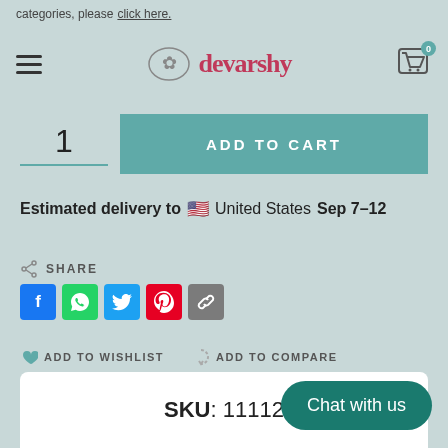categories, please click here.
[Figure (logo): Devarshy brand logo with decorative emblem]
1
ADD TO CART
Estimated delivery to 🇺🇸 United States Sep 7-12
SHARE
[Figure (infographic): Social share icons: Facebook, WhatsApp, Twitter, Pinterest, Copy Link]
ADD TO WISHLIST
ADD TO COMPARE
SKU: 11112
Chat with us